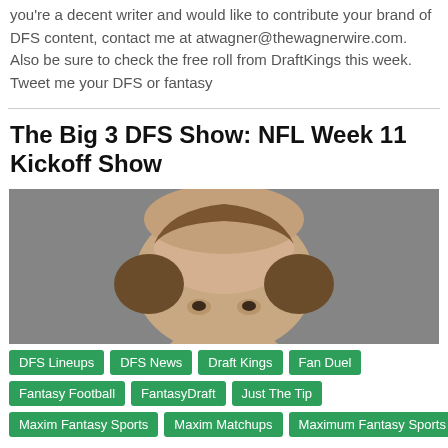you're a decent writer and would like to contribute your brand of DFS content, contact me at atwagner@thewagnerwire.com. Also be sure to check the free roll from DraftKings this week. Tweet me your DFS or fantasy
The Big 3 DFS Show: NFL Week 11 Kickoff Show
[Figure (photo): Close-up photo of a person's head with thinning hair, gray background]
DFS Lineups
DFS News
Draft Kings
Fan Duel
Fantasy Football
FantasyDraft
Just The Tip
Maxim Fantasy Sports
Maxim Matchups
Maximum Fantasy Sports